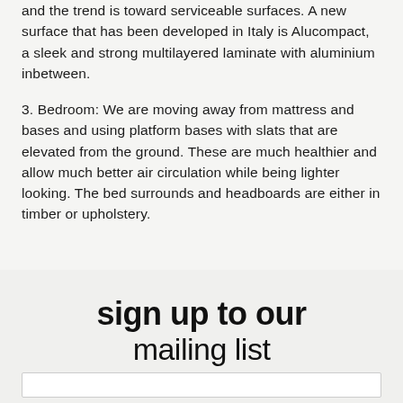2. Dining: Dining room tables are becoming family focal points and the trend is toward serviceable surfaces. A new surface that has been developed in Italy is Alucompact, a sleek and strong multilayered laminate with aluminium inbetween.
3. Bedroom: We are moving away from mattress and bases and using platform bases with slats that are elevated from the ground. These are much healthier and allow much better air circulation while being lighter looking. The bed surrounds and headboards are either in timber or upholstery.
sign up to our mailing list